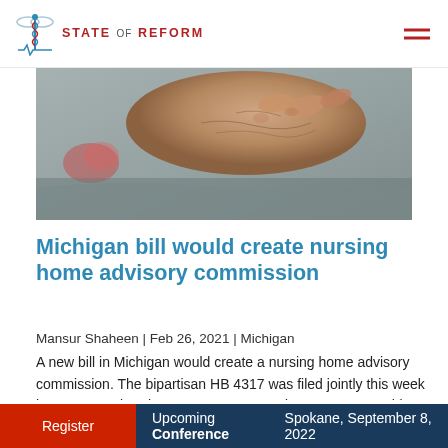STATE OF REFORM
[Figure (photo): Close-up of an elderly person's aged hands resting on gray fabric]
Michigan bill would create nursing home advisory commission
Mansur Shaheen | Feb 26, 2021 | Michigan
A new bill in Michigan would create a nursing home advisory commission. The bipartisan HB 4317 was filed jointly this week by Rep. Angela Witwer, a Democrat, and Rep. Bronna Kahle, a Republican. The commission will be created as a part of the Department of Health and Human Services (MDHHS). [ Read More ]
Register   Upcoming Conference   Spokane, September 8, 2022